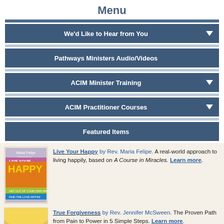Menu
We'd Like to Hear from You
Pathways Ministers Audio/Videos
ACIM Minister Training
ACIM Practitioner Courses
Featured Items
[Figure (photo): Book cover: Live Your Happy by Maria Felipe - colorful cover with yellow, pink, orange colors and title text]
Live Your Happy by Rev. Maria Felipe. A real-world approach to living happily, based on A Course in Miracles. Learn more.
[Figure (photo): Book cover: True Forgiveness - orange and yellow cover with text True Forgiveness]
True Forgiveness by Rev. Jennifer McSween. The Proven Path from Pain to Power in 5 Simple Steps. Learn more.